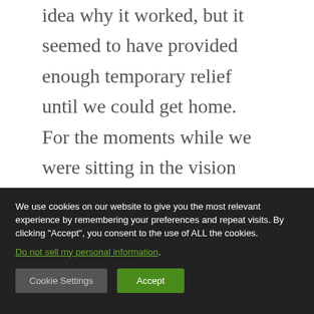idea why it worked, but it seemed to have provided enough temporary relief until we could get home. For the moments while we were sitting in the vision center, employees took turns coming to check on my son’s neck. They asked if they could get us anything. They gave him a Dum Dum sucker, and those
We use cookies on our website to give you the most relevant experience by remembering your preferences and repeat visits. By clicking “Accept”, you consent to the use of ALL the cookies. Do not sell my personal information.